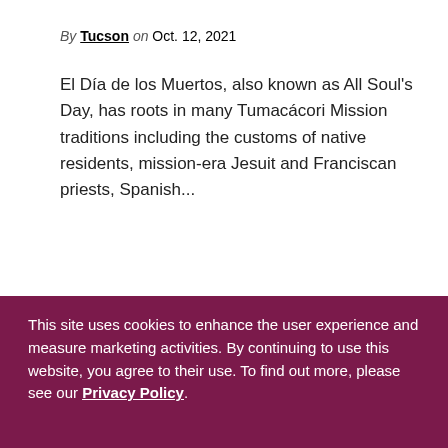By Tucson on Oct. 12, 2021
El Día de los Muertos, also known as All Soul's Day, has roots in many Tumacácori Mission traditions including the customs of native residents, mission-era Jesuit and Franciscan priests, Spanish...
Read More
Tucson Meet Yourself
Folklife Festival Returns
This site uses cookies to enhance the user experience and measure marketing activities. By continuing to use this website, you agree to their use. To find out more, please see our Privacy Policy.